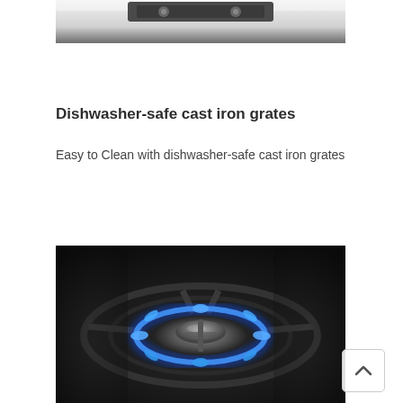[Figure (photo): Top portion of a stainless steel gas range/stove top appliance, showing controls and burner area, cropped from above]
Dishwasher-safe cast iron grates
Easy to Clean with dishwasher-safe cast iron grates
[Figure (photo): Close-up of a gas stove burner with bright blue flames burning in a ring pattern around a dark metallic burner cap, dark dramatic background]